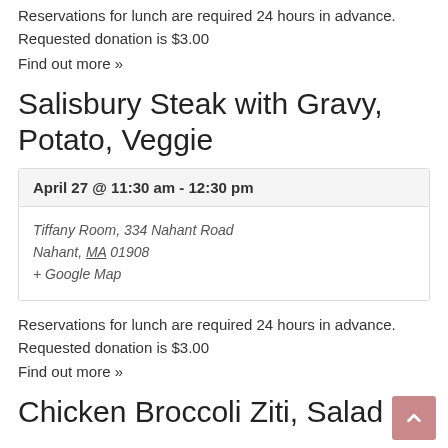Reservations for lunch are required 24 hours in advance. Requested donation is $3.00
Find out more »
Salisbury Steak with Gravy, Potato, Veggie
| April 27 @ 11:30 am - 12:30 pm |
| Tiffany Room, 334 Nahant Road
Nahant, MA 01908
+ Google Map |
Reservations for lunch are required 24 hours in advance. Requested donation is $3.00
Find out more »
Chicken Broccoli Ziti, Salad